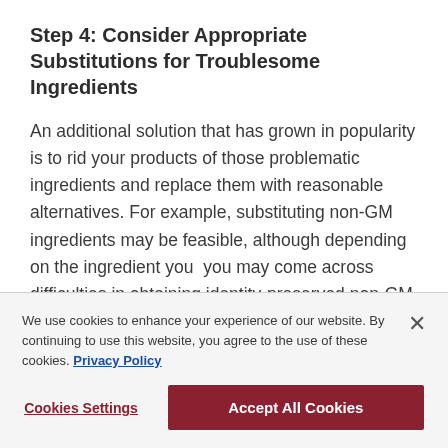Step 4: Consider Appropriate Substitutions for Troublesome Ingredients
An additional solution that has grown in popularity is to rid your products of those problematic ingredients and replace them with reasonable alternatives. For example, substituting non-GM ingredients may be feasible, although depending on the ingredient you  you may come across difficulties in obtaining identity-preserved non-GM
We use cookies to enhance your experience of our website. By continuing to use this website, you agree to the use of these cookies. Privacy Policy
Cookies Settings  Accept All Cookies